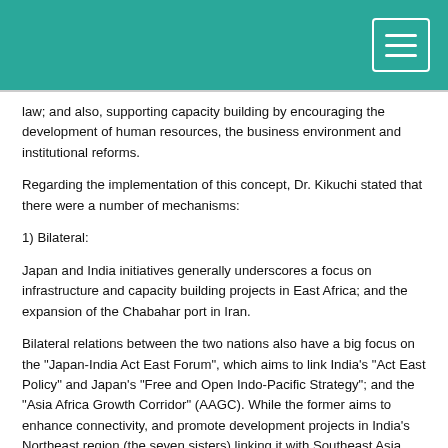law; and also, supporting capacity building by encouraging the development of human resources, the business environment and institutional reforms.
Regarding the implementation of this concept, Dr. Kikuchi stated that there were a number of mechanisms:
1) Bilateral:
Japan and India initiatives generally underscores a focus on infrastructure and capacity building projects in East Africa; and the expansion of the Chabahar port in Iran.
Bilateral relations between the two nations also have a big focus on the "Japan-India Act East Forum", which aims to link India's "Act East Policy" and Japan's "Free and Open Indo-Pacific Strategy"; and the "Asia Africa Growth Corridor" (AAGC). While the former aims to enhance connectivity, and promote development projects in India's Northeast region (the seven sisters) linking it with Southeast Asia, the later project